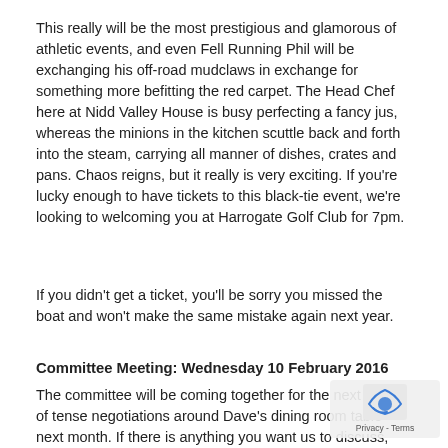This really will be the most prestigious and glamorous of athletic events, and even Fell Running Phil will be exchanging his off-road mudclaws in exchange for something more befitting the red carpet. The Head Chef here at Nidd Valley House is busy perfecting a fancy jus, whereas the minions in the kitchen scuttle back and forth into the steam, carrying all manner of dishes, crates and pans. Chaos reigns, but it really is very exciting. If you're lucky enough to have tickets to this black-tie event, we're looking to welcoming you at Harrogate Golf Club for 7pm.
If you didn't get a ticket, you'll be sorry you missed the boat and won't make the same mistake again next year.
Committee Meeting: Wednesday 10 February 2016
The committee will be coming together for the next round of tense negotiations around Dave's dining room table next month. If there is anything you want us to discuss, think about all the best value racing shoes to consider...